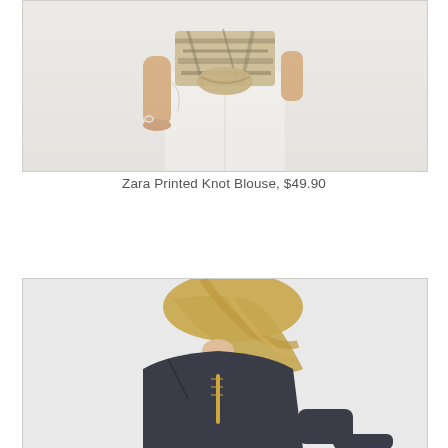[Figure (photo): Fashion product photo showing a model wearing a printed knot blouse with an olive/cream pattern tied at the front, paired with white wide-leg trousers. Shot against a light background, cropped to show torso and lower body.]
Zara Printed Knot Blouse, $49.90
[Figure (photo): Fashion product photo showing a model with blonde hair wearing a dark navy sleeveless top, viewed from behind/side angle. The model is bending slightly forward. Shot against a light background.]